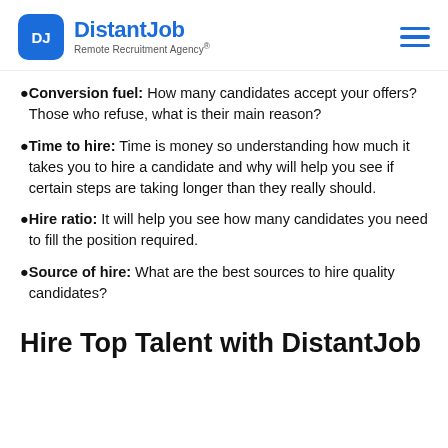DistantJob Remote Recruitment Agency
Conversion fuel: How many candidates accept your offers? Those who refuse, what is their main reason?
Time to hire: Time is money so understanding how much it takes you to hire a candidate and why will help you see if certain steps are taking longer than they really should.
Hire ratio: It will help you see how many candidates you need to fill the position required.
Source of hire: What are the best sources to hire quality candidates?
Hire Top Talent with DistantJob